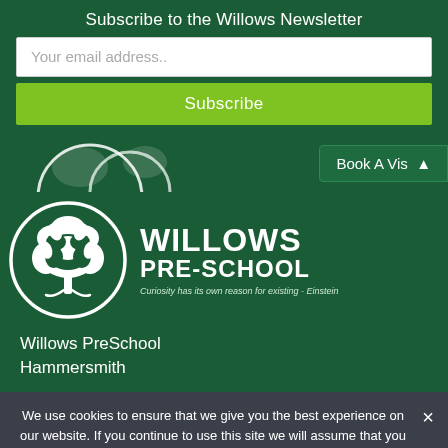Subscribe to the Willows Newsletter
Your email address..
Subscribe
Book A Vis
[Figure (logo): Willows Pre-School logo: white tree illustration with WILLOWS PRE-SCHOOL text and tagline 'Curiosity has its own reason for existing - Einstein']
Willows PreSchool
Hammersmith
We use cookies to ensure that we give you the best experience on our website. If you continue to use this site we will assume that you are happy with it.
Ok